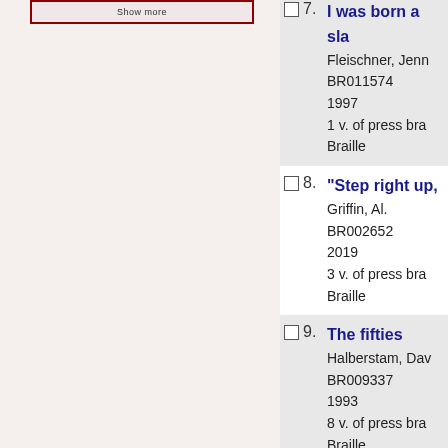7. I was born a slave — Fleischner, Jenn — BR011574 — 1997 — 1 v. of press braille — Braille
8. "Step right up, — Griffin, Al. — BR002652 — 2019 — 3 v. of press braille — Braille
9. The fifties — Halberstam, Dav — BR009337 — 1993 — 8 v. of press braille — Braille